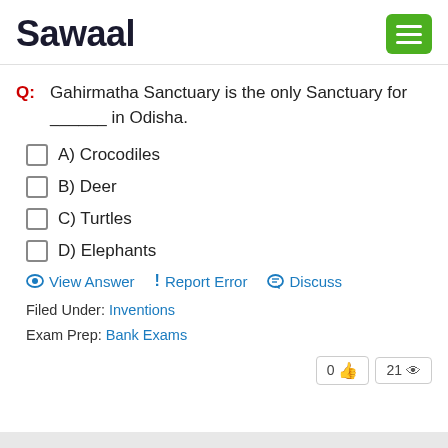Sawaal
Q: Gahirmatha Sanctuary is the only Sanctuary for ______ in Odisha.
A) Crocodiles
B) Deer
C) Turtles
D) Elephants
View Answer | Report Error | Discuss
Filed Under: Inventions
Exam Prep: Bank Exams
0 👍  21 👁